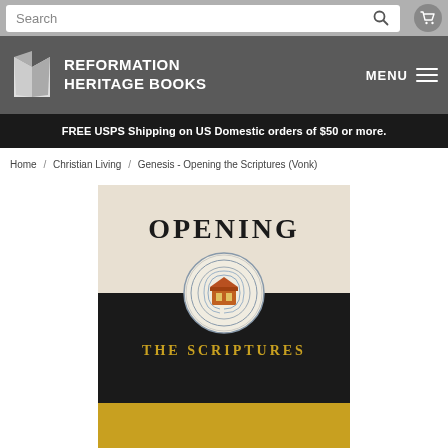Search
[Figure (logo): Reformation Heritage Books logo with open book icon and text]
MENU
FREE USPS Shipping on US Domestic orders of $50 or more.
Home / Christian Living / Genesis - Opening the Scriptures (Vonk)
[Figure (photo): Book cover of 'Opening the Scriptures' with beige top section showing title in large serif font, black band with gold subtitle text, a decorative circular medallion illustration, and gold bottom band]